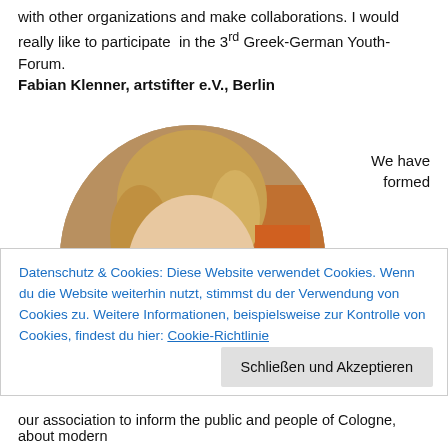with other organizations and make collaborations. I would really like to participate in the 3rd Greek-German Youth-Forum.
Fabian Klenner, artstifter e.V., Berlin
We have formed
[Figure (photo): Circular cropped portrait photo of a woman with glasses and short blonde hair, smiling, wearing a white top. Another person visible in the background wearing an orange top.]
Datenschutz & Cookies: Diese Website verwendet Cookies. Wenn du die Website weiterhin nutzt, stimmst du der Verwendung von Cookies zu. Weitere Informationen, beispielsweise zur Kontrolle von Cookies, findest du hier: Cookie-Richtlinie
Schließen und Akzeptieren
our association to inform the public and people of Cologne, about modern